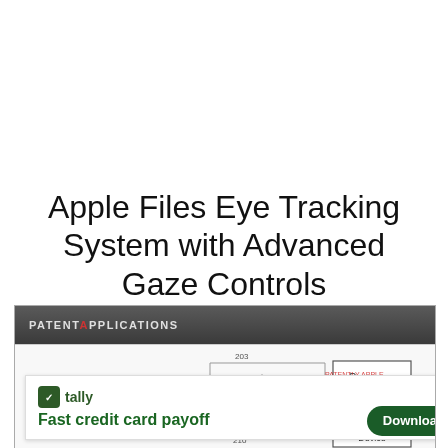Apple Files Eye Tracking System with Advanced Gaze Controls
[Figure (screenshot): Screenshot of a patent applications website showing a partial patent diagram of Apple's eye tracking system with a 'Processor' block and 'User Input Device' block, with an overlaid Tally advertisement for fast credit card payoff.]